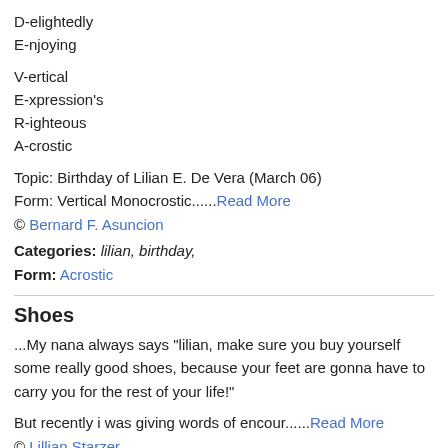D-elightedly
E-njoying
V-ertical
E-xpression's
R-ighteous
A-crostic
Topic: Birthday of Lilian E. De Vera (March 06)
Form: Vertical Monocrostic......Read More
© Bernard F. Asuncion
Categories: lilian, birthday,
Form: Acrostic
Shoes
...My nana always says "lilian, make sure you buy yourself some really good shoes, because your feet are gonna have to carry you for the rest of your life!"
But recently i was giving words of encour......Read More
© Lillian Starzer